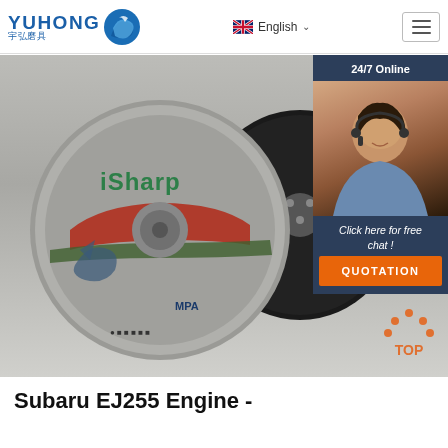YUHONG 宇弘磨具 | English
[Figure (photo): Product photo showing iSharp brand cutting/grinding discs with shark logo and MPA marking, alongside a black grinding wheel. An overlaid chat widget panel shows '24/7 Online', a female customer support representative with headset, 'Click here for free chat!' text, and an orange QUOTATION button. A TOP navigation button appears at bottom right.]
Subaru EJ255 Engine -